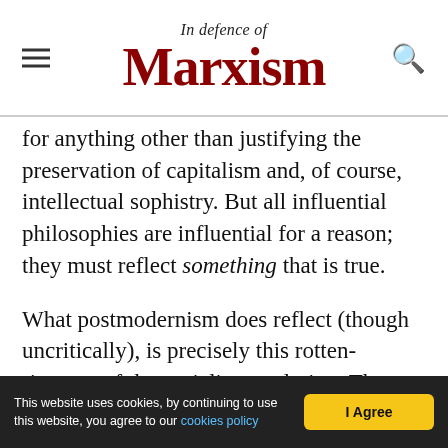In Defence of Marxism
for anything other than justifying the preservation of capitalism and, of course, intellectual sophistry. But all influential philosophies are influential for a reason; they must reflect something that is true.
What postmodernism does reflect (though uncritically), is precisely this rotten-ripeness of the socialist revolution. The ‘end of grand narratives’ is really the failure of proletarian leadership in the epoch of social revolution.
When one looks at the deindustrialised wastelands of Europe and North America, at the mass
This website uses cookies, by continuing to use this website, you agree to our cookies policy | I Agree